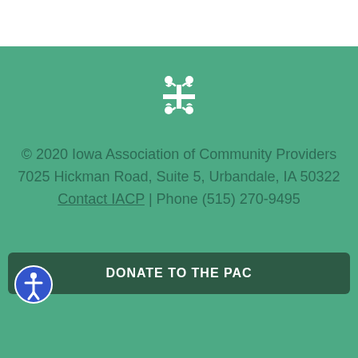[Figure (logo): IACP logo — four stylized human figures arranged in a cross/pinwheel pattern, white on green background]
© 2020 Iowa Association of Community Providers
7025 Hickman Road, Suite 5, Urbandale, IA 50322
Contact IACP | Phone (515) 270-9495
DONATE TO THE PAC